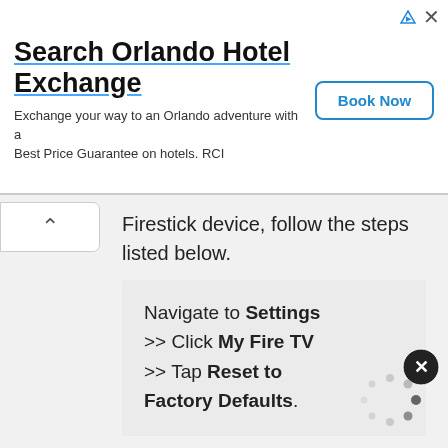[Figure (infographic): Advertisement banner for Search Orlando Hotel Exchange with Book Now button and ad icons in top right corner]
Firestick device, follow the steps listed below.
Navigate to Settings >> Click My Fire TV >> Tap Reset to Factory Defaults.
[Figure (other): Loading spinner dots in bottom right area of page]
[Figure (other): X close button circle]